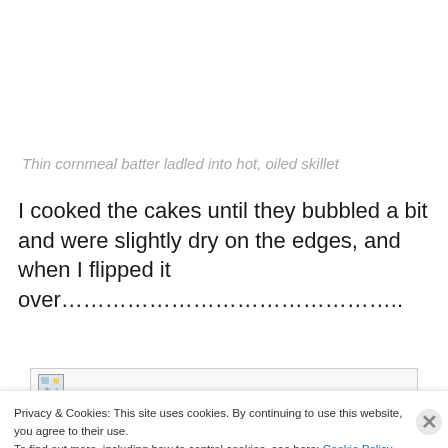Thin cornmeal batter ladled into hot, oiled skillet
I cooked the cakes until they bubbled a bit and were slightly dry on the edges, and when I flipped it over………………………………………..
[Figure (photo): Image placeholder icon with broken image symbol]
Privacy & Cookies: This site uses cookies. By continuing to use this website, you agree to their use.
To find out more, including how to control cookies, see here: Cookie Policy
Close and accept